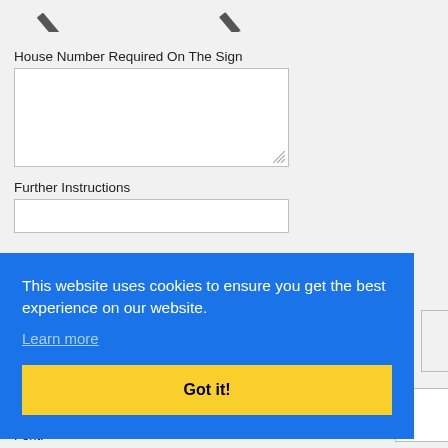[Figure (illustration): Two pencil/pen icons at the top of the page]
House Number Required On The Sign
Further Instructions
This website uses cookies to ensure you get the best experience on our website. Learn more
Font: